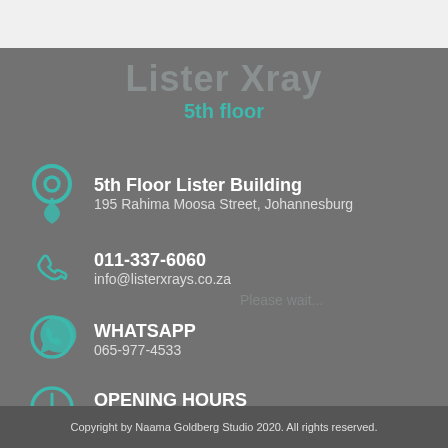Lister Xray
5th floor
5th Floor Lister Building
195 Rahima Moosa Street, Johannesburg
011-337-6060
info@listerxrays.co.za
WHATSAPP
065-977-4533
OPENING HOURS
Monday - Friday 08:45-4:30 Saturday 8:45-12pm
Copyright by Naama Goldberg Studio 2020. All rights reserved.